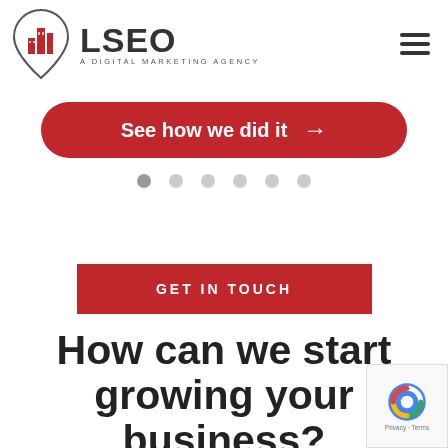[Figure (logo): LSEO - A Digital Marketing Agency logo with red building/location pin icon]
[Figure (other): Red rounded button with white text 'See how we did it' and right arrow]
[Figure (other): Carousel pagination dots - 6 dots, first one active (darker)]
[Figure (other): Red rectangular button with white uppercase text 'GET IN TOUCH']
How can we start growing your business?
We are ready to help your business not only get found